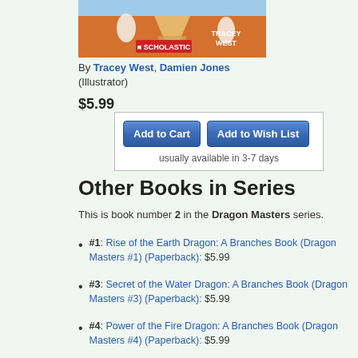[Figure (illustration): Partial book cover for Dragon Masters showing an orange background with pyramid and characters, Scholastic logo and author name Tracey West]
By Tracey West, Damien Jones (Illustrator)
$5.99
[Figure (screenshot): Add to Cart and Add to Wish List buttons with availability text 'usually available in 3-7 days']
Other Books in Series
This is book number 2 in the Dragon Masters series.
#1: Rise of the Earth Dragon: A Branches Book (Dragon Masters #1) (Paperback): $5.99
#3: Secret of the Water Dragon: A Branches Book (Dragon Masters #3) (Paperback): $5.99
#4: Power of the Fire Dragon: A Branches Book (Dragon Masters #4) (Paperback): $5.99